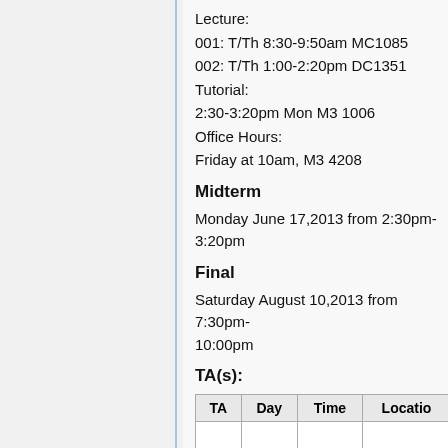Lecture:
001: T/Th 8:30-9:50am MC1085
002: T/Th 1:00-2:20pm DC1351
Tutorial:
2:30-3:20pm Mon M3 1006
Office Hours:
Friday at 10am, M3 4208
Midterm
Monday June 17,2013 from 2:30pm-3:20pm
Final
Saturday August 10,2013 from 7:30pm-10:00pm
TA(s):
| TA | Day | Time | Location |
| --- | --- | --- | --- |
|  |